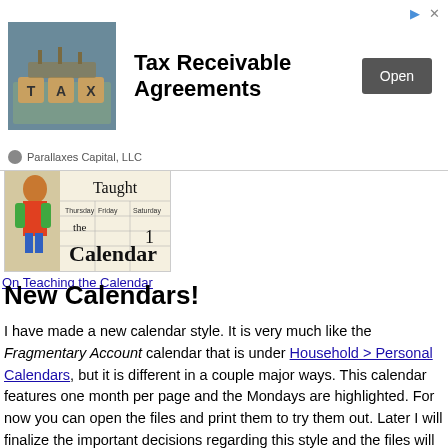[Figure (photo): Advertisement banner for Tax Receivable Agreements by Parallaxes Capital, LLC with TAX letter blocks image, Open button, and sponsor info]
[Figure (photo): Thumbnail image showing a handmade calendar with the text 'Taught the Calendar']
On Teaching the Calendar
New Calendars!
I have made a new calendar style. It is very much like the Fragmentary Account calendar that is under Household > Personal Calendars, but it is different in a couple major ways. This calendar features one month per page and the Mondays are highlighted. For now you can open the files and print them to try them out. Later I will finalize the important decisions regarding this style and the files will be kept up here on the website. Bel...